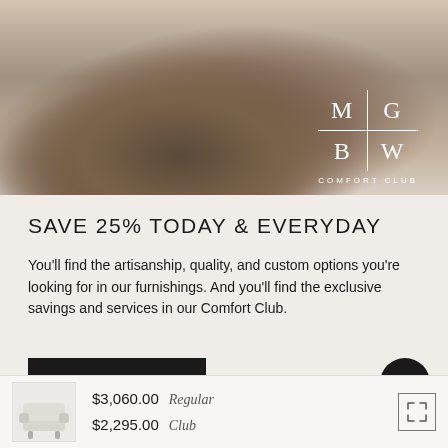[Figure (photo): Hero product photo showing a sculptural round chair/ottoman in textured brown fabric, with decorative pillows on a light hardwood floor. The MG|BW Comfort Club logo is overlaid in white in the upper right.]
SAVE 25% TODAY & EVERYDAY
You'll find the artisanship, quality, and custom options you're looking for in our furnishings. And you'll find the exclusive savings and services in our Comfort Club.
JOIN NOW
$3,060.00 Regular
$2,295.00 Club